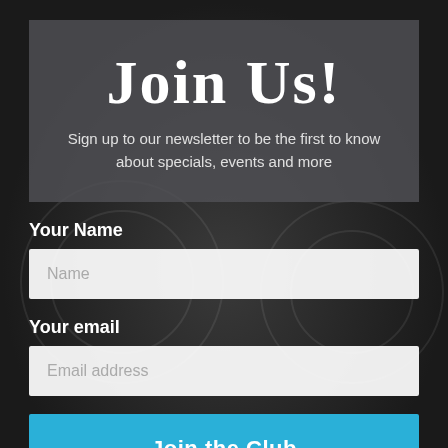Join Us!
Sign up to our newsletter to be the first to know about specials, events and more
Your Name
Name
Your email
Email address
Join the Club